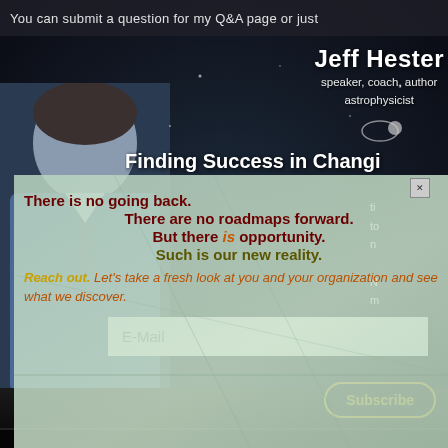You can submit a question for my Q&A page or just
Jeff Hester
speaker, coach, author
astrophysicist
Finding Success in Changi
[Figure (screenshot): Modal popup overlay on a website. Background shows a close-up of a leaf and coronavirus particles. The modal contains motivational text about opportunity and a call to action.]
There is no going back.
There are no roadmaps forward.
But there is opportunity.
Such is our new reality.
Reach out. Let's take a fresh look at you and your organization and see what we discover.
E-Mail
Subscribe